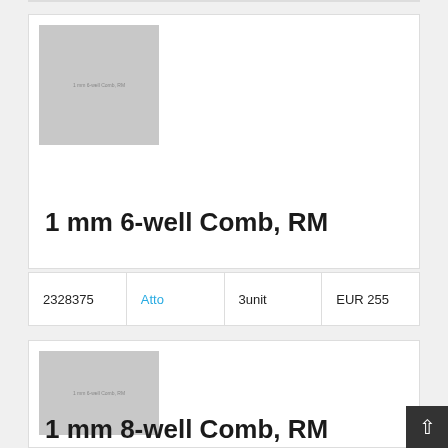[Figure (photo): Placeholder image for 1 mm 6-well Comb, RM product (grey square with text label)]
1 mm 6-well Comb, RM
| ID | Brand | Quantity | Price |
| --- | --- | --- | --- |
| 2328375 | Atto | 3unit | EUR 255 |
[Figure (photo): Placeholder image for second product (grey square with text label)]
1 mm 8-well Comb, RM